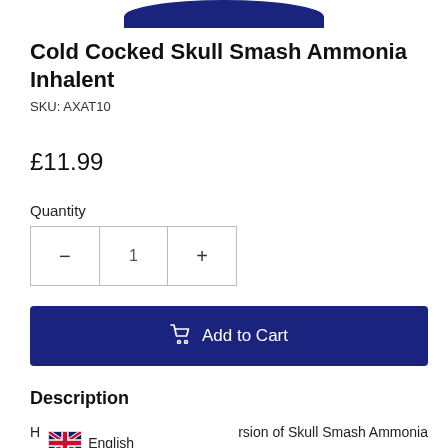[Figure (photo): Bottom portion of a blue product container (Cold Cocked Skull Smash Ammonia Inhalent) visible at top of page]
Cold Cocked Skull Smash Ammonia Inhalent
SKU: AXAT10
£11.99
Quantity
- 1 +
Add to Cart
Description
H Ir  English  rsion of Skull Smash Ammonia